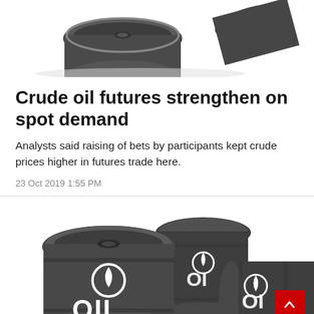[Figure (photo): Top portion of dark metallic oil barrels on white background, partially cropped at top of page]
Crude oil futures strengthen on spot demand
Analysts said raising of bets by participants kept crude prices higher in futures trade here.
23 Oct 2019 1:55 PM
[Figure (photo): Multiple dark oil barrels labeled OIL with water droplet logo, arranged in a group on white background, with red scroll-to-top button in bottom right corner]